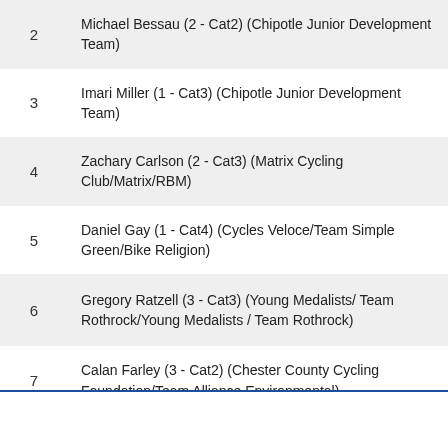| # | Rider |
| --- | --- |
| 2 | Michael Bessau (2 - Cat2) (Chipotle Junior Development Team) |
| 3 | Imari Miller (1 - Cat3) (Chipotle Junior Development Team) |
| 4 | Zachary Carlson (2 - Cat3) (Matrix Cycling Club/Matrix/RBM) |
| 5 | Daniel Gay (1 - Cat4) (Cycles Veloce/Team Simple Green/Bike Religion) |
| 6 | Gregory Ratzell (3 - Cat3) (Young Medalists/ Team Rothrock/Young Medalists / Team Rothrock) |
| 7 | Calan Farley (3 - Cat2) (Chester County Cycling Foundation/Team Alliance Environmental) |
| 8 | Scott Cohen (2 - Cat4) (Encino Velo Cycling Club) |
| 9 | Max Thilen (4 - Cat3) (Orlando Road Club |